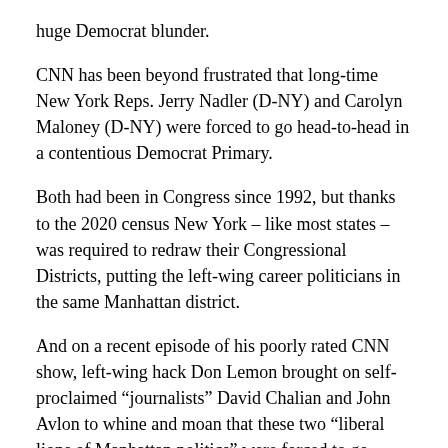huge Democrat blunder.
CNN has been beyond frustrated that long-time New York Reps. Jerry Nadler (D-NY) and Carolyn Maloney (D-NY) were forced to go head-to-head in a contentious Democrat Primary.
Both had been in Congress since 1992, but thanks to the 2020 census New York – like most states – was required to redraw their Congressional Districts, putting the left-wing career politicians in the same Manhattan district.
And on a recent episode of his poorly rated CNN show, left-wing hack Don Lemon brought on self-proclaimed “journalists” David Chalian and John Avlon to whine and moan that these two “liberal lions of Manhattan politics” were forced to go head-to-head.
“Let’s talk about representative Jerry Nadler,” Lemon